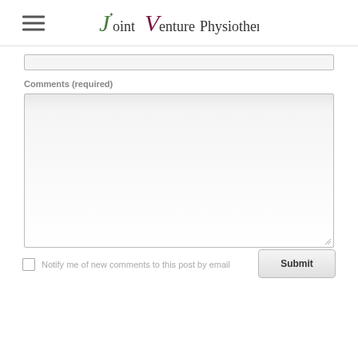Joint Venture Physiotherapy
Comments (required)
Notify me of new comments to this post by email
Submit